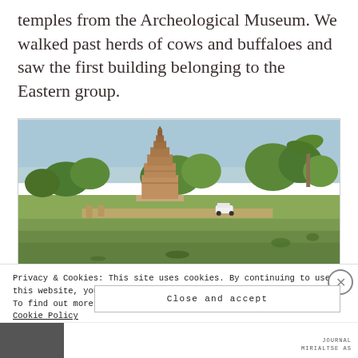temples from the Archeological Museum. We walked past herds of cows and buffaloes and saw the first building belonging to the Eastern group.
[Figure (photo): Outdoor landscape photo showing an ancient Indian temple tower (shikhara) surrounded by trees and open green grounds, with a low stone wall enclosure and a white car visible in the middle distance. Hazy blue sky in the background.]
Privacy & Cookies: This site uses cookies. By continuing to use this website, you agree to their use.
To find out more, including how to control cookies, see here: Cookie Policy
Close and accept